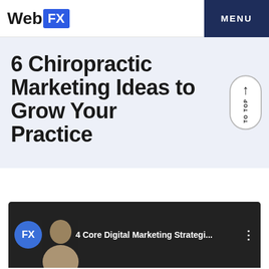WebFX | MENU
6 Chiropractic Marketing Ideas to Grow Your Practice
[Figure (screenshot): TO TOP scroll button with upward arrow]
[Figure (screenshot): Video thumbnail showing '4 Core Digital Marketing Strategi...' with WebFX logo and person]